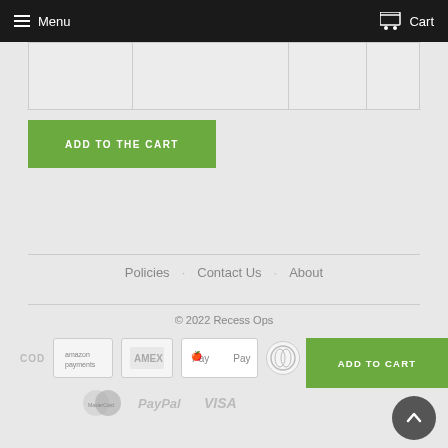Menu  Cart
|  |
ADD TO THE CART
Policies  Contact Us  About
© 2022 Recess Ops
COD  amazon payments  American Express  Apple Pay  [Diners]  MasterCard  PayPal  VISA